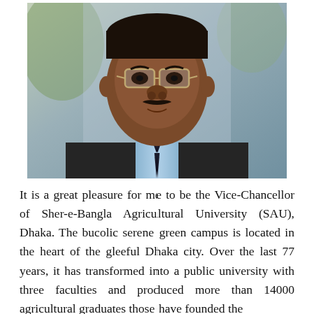[Figure (photo): Portrait photograph of a middle-aged South Asian man wearing glasses, a light blue striped shirt, and a dark suit jacket with a dark tie. He has a mustache and is photographed from shoulders up against a blurred outdoor background.]
It is a great pleasure for me to be the Vice-Chancellor of Sher-e-Bangla Agricultural University (SAU), Dhaka. The bucolic serene green campus is located in the heart of the gleeful Dhaka city. Over the last 77 years, it has transformed into a public university with three faculties and produced more than 14000 agricultural graduates those have founded the